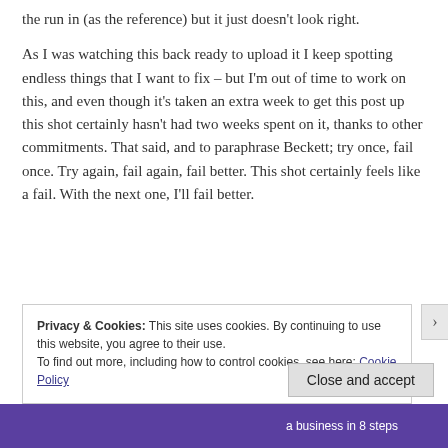the run in (as the reference) but it just doesn’t look right.
As I was watching this back ready to upload it I keep spotting endless things that I want to fix – but I’m out of time to work on this, and even though it’s taken an extra week to get this post up this shot certainly hasn’t had two weeks spent on it, thanks to other commitments. That said, and to paraphrase Beckett; try once, fail once. Try again, fail again, fail better. This shot certainly feels like a fail. With the next one, I’ll fail better.
Privacy & Cookies: This site uses cookies. By continuing to use this website, you agree to their use.
To find out more, including how to control cookies, see here: Cookie Policy
Close and accept